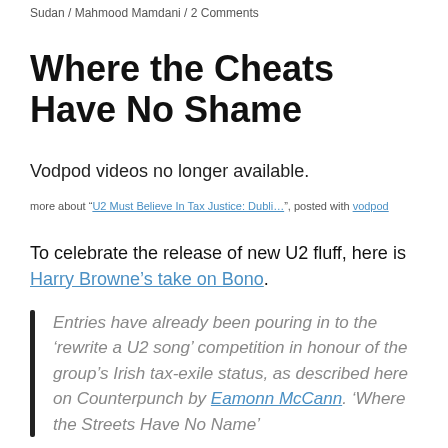Sudan / Mahmood Mamdani / 2 Comments
Where the Cheats Have No Shame
Vodpod videos no longer available.
more about “U2 Must Believe In Tax Justice: Dubli…”, posted with vodpod
To celebrate the release of new U2 fluff, here is Harry Browne’s take on Bono.
Entries have already been pouring in to the ‘rewrite a U2 song’ competition in honour of the group’s Irish tax-exile status, as described here on Counterpunch by Eamonn McCann. ‘Where the Streets Have No Name’